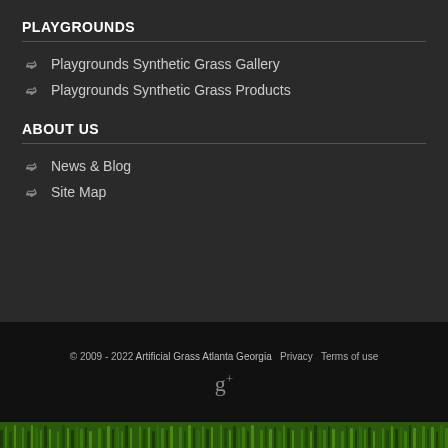PLAYGROUNDS
Playgrounds Synthetic Grass Gallery
Playgrounds Synthetic Grass Products
ABOUT US
News & Blog
Site Map
© 2009 - 2022 Artificial Grass Atlanta Georgia   Privacy   Terms of use
[Figure (logo): Google Plus (g+) icon in gray]
[Figure (photo): Strip of green grass at the bottom of the page]